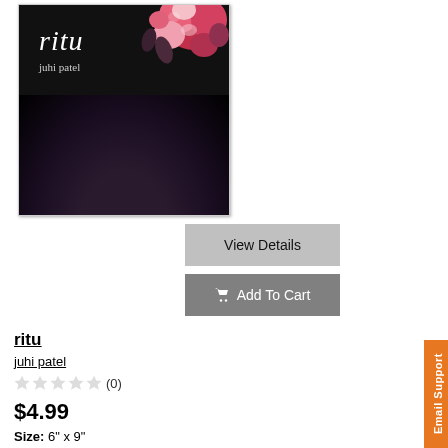[Figure (illustration): Book cover for 'ritu' by juhi patel — dark background with woman's dark hair flowing down, pink and red flowers in upper right corner, white italic title text 'ritu' and small 'juhi patel' author text]
View Details
Add To Cart
ritu
juhi patel
☆☆☆☆☆ (0)
$4.99
Size: 6" x 9"
Binding: Perfect Bound
a collection of short stories and poetry